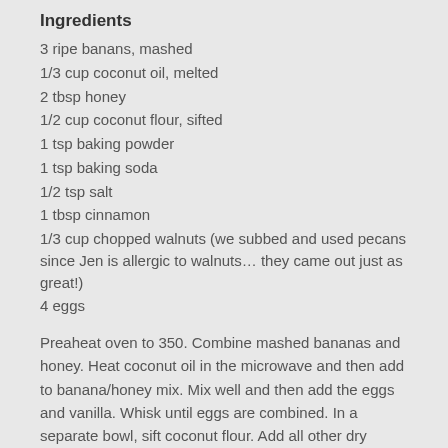Ingredients
3 ripe banans, mashed
1/3 cup coconut oil, melted
2 tbsp honey
1/2 cup coconut flour, sifted
1 tsp baking powder
1 tsp baking soda
1/2 tsp salt
1 tbsp cinnamon
1/3 cup chopped walnuts (we subbed and used pecans since Jen is allergic to walnuts… they came out just as great!)
4 eggs
Preaheat oven to 350. Combine mashed bananas and honey. Heat coconut oil in the microwave and then add to banana/honey mix. Mix well and then add the eggs and vanilla.  Whisk until eggs are combined.  In a separate bowl, sift coconut flour. Add all other dry ingredients and whisk together. Add the dry to the wet and fold in nuts. Pour into greased muffin tins or